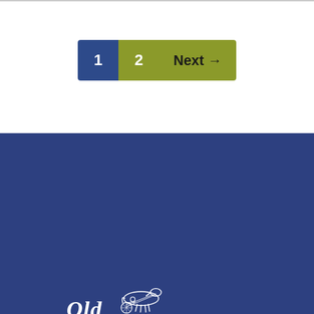1
2
Next →
[Figure (logo): Old Home Week Since 1888 logo with harness racing horse and cow illustrations on dark blue background]
[Figure (other): Social media icons: Facebook, Twitter, Instagram in white on dark blue background]